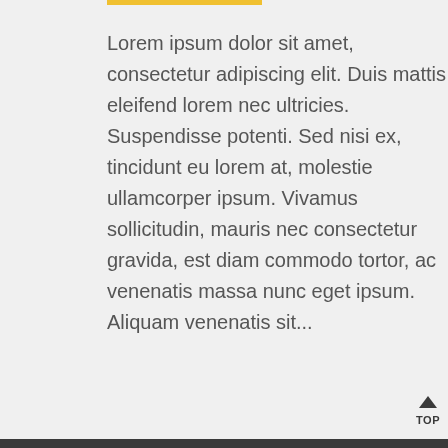Lorem ipsum dolor sit amet, consectetur adipiscing elit. Duis mattis eleifend lorem nec ultricies. Suspendisse potenti. Sed nisi ex, tincidunt eu lorem at, molestie ullamcorper ipsum. Vivamus sollicitudin, mauris nec consectetur gravida, est diam commodo tortor, ac venenatis massa nunc eget ipsum. Aliquam venenatis sit...